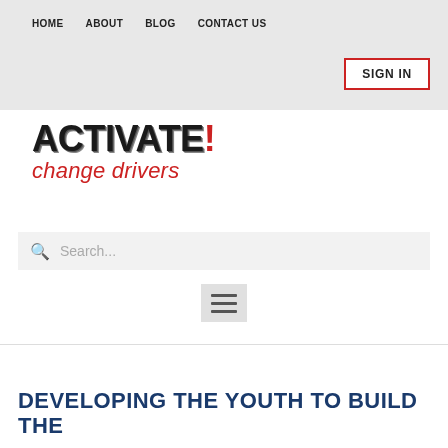HOME  ABOUT  BLOG  CONTACT US
SIGN IN
[Figure (logo): Activate! change drivers logo — bold black distressed text 'ACTIVATE!' with red exclamation mark, red cursive tagline 'change drivers']
Search...
[Figure (other): Hamburger menu icon — three horizontal lines]
DEVELOPING THE YOUTH TO BUILD THE